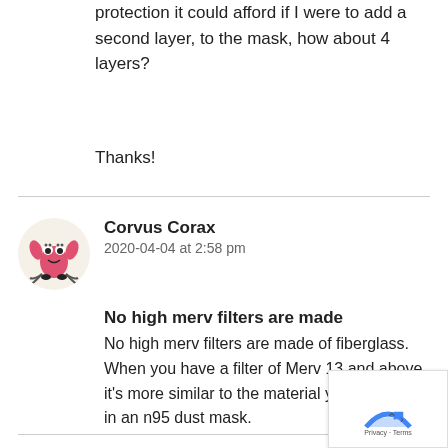protection it could afford if I were to add a second layer, to the mask, how about 4 layers?
Thanks!
Corvus Corax
2020-04-04 at 2:58 pm
No high merv filters are made
No high merv filters are made of fiberglass. When you have a filter of Merv 13 and above it's more similar to the material you would find in an n95 dust mask.